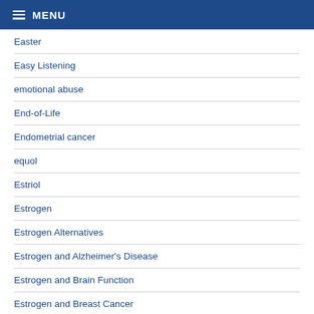MENU
Easter
Easy Listening
emotional abuse
End-of-Life
Endometrial cancer
equol
Estriol
Estrogen
Estrogen Alternatives
Estrogen and Alzheimer's Disease
Estrogen and Brain Function
Estrogen and Breast Cancer